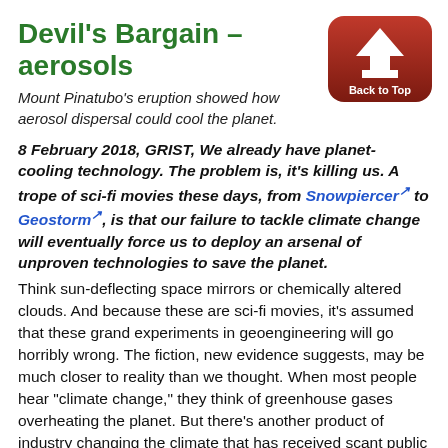Devil's Bargain – aerosols
[Figure (illustration): Red rounded-rectangle button with white house/upload arrow icon and 'Back to Top' text]
Mount Pinatubo's eruption showed how aerosol dispersal could cool the planet.
8 February 2018, GRIST, We already have planet-cooling technology. The problem is, it's killing us. A trope of sci-fi movies these days, from Snowpiercer to Geostorm, is that our failure to tackle climate change will eventually force us to deploy an arsenal of unproven technologies to save the planet. Think sun-deflecting space mirrors or chemically altered clouds. And because these are sci-fi movies, it's assumed that these grand experiments in geoengineering will go horribly wrong. The fiction, new evidence suggests, may be much closer to reality than we thought. When most people hear "climate change," they think of greenhouse gases overheating the planet. But there's another product of industry changing the climate that has received scant public attention: aerosols. They're microscopic particles of pollution that, on balance, reflect sunlight back to